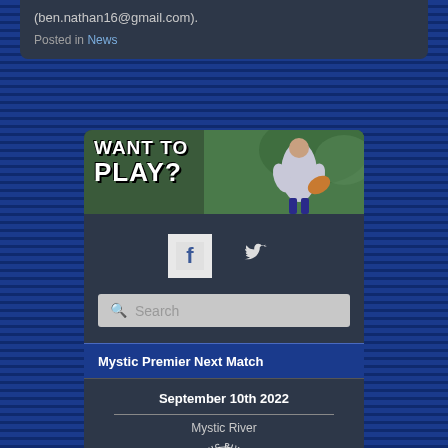(ben.nathan16@gmail.com).
Posted in News
[Figure (illustration): Want to Play? banner with rugby player running with ball]
[Figure (logo): Facebook icon]
[Figure (logo): Twitter bird icon]
Search
Mystic Premier Next Match
September 10th 2022
Mystic River
[Figure (logo): Mystic River Rugby Club logo - circular with bird]